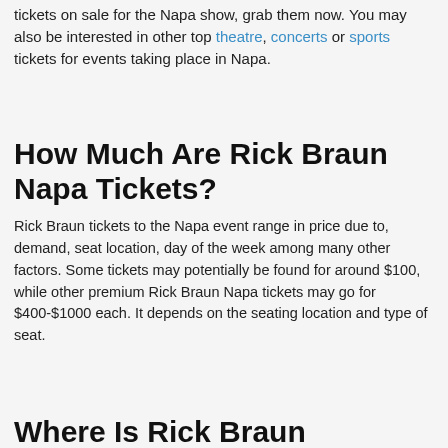tickets on sale for the Napa show, grab them now. You may also be interested in other top theatre, concerts or sports tickets for events taking place in Napa.
How Much Are Rick Braun Napa Tickets?
Rick Braun tickets to the Napa event range in price due to, demand, seat location, day of the week among many other factors. Some tickets may potentially be found for around $100, while other premium Rick Braun Napa tickets may go for $400-$1000 each. It depends on the seating location and type of seat.
Where Is Rick Braun